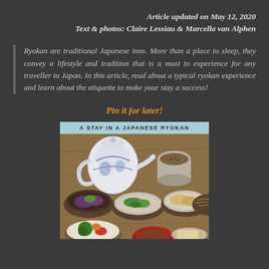Article updated on May 12, 2020
Text & photos: Claire Lessiau & Marcella van Alphen
Ryokan are traditional Japanese inns. More than a place to sleep, they convey a lifestyle and tradition that is a must to experience for any traveller to Japan. In this article, read about a typical ryokan experience and learn about the etiquette to make your stay a success!
Pin it for later!
[Figure (photo): Photo of a traditional Japanese ryokan meal with multiple small ceramic bowls containing various dishes, a blue-and-white teapot, and a light blue header bar reading 'A STAY IN A JAPANESE RYOKAN']